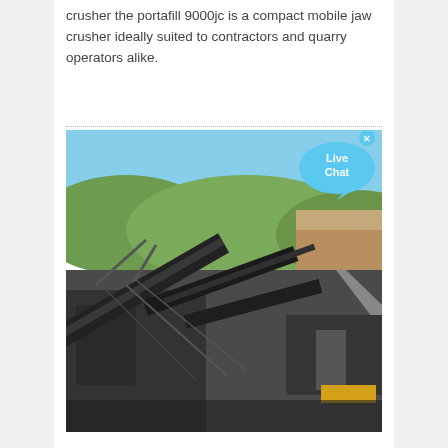crusher the portafill 9000jc is a compact mobile jaw crusher ideally suited to contractors and quarry operators alike.
[Figure (photo): Outdoor photograph of a large mobile jaw crusher machine with multiple conveyor belts at a quarry site. Rocky hillside with green vegetation visible in the background under a blue sky. Heavy industrial equipment with steel frames and belts in the foreground.]